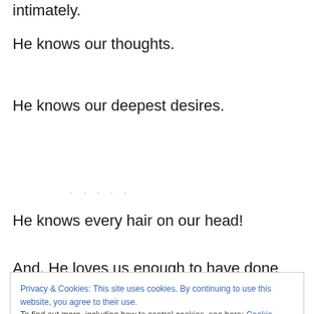intimately.
He knows our thoughts.
He knows our deepest desires.
. . . . .
He knows every hair on our head!
And, He loves us enough to have done something amazing for each of us.
Privacy & Cookies: This site uses cookies. By continuing to use this website, you agree to their use.
To find out more, including how to control cookies, see here: Cookie Policy
him. Whoever believes in him is not condemned, but